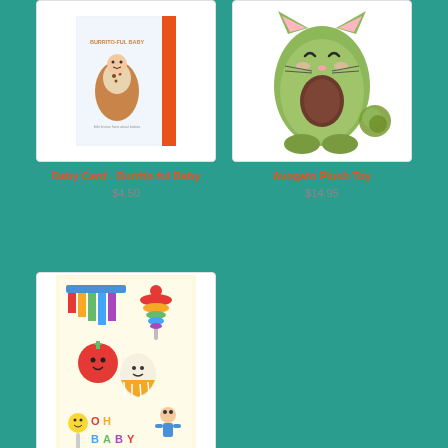[Figure (photo): Baby card with burrito baby illustration, red border, text 'Burrito-ful Baby']
Baby Card - Burrito-ful Baby
$4.50
[Figure (photo): Avogato plush toy - avocado shaped cat stuffed animal in green with brown pit]
Avogato Plush Toy
$14.95
[Figure (photo): Baby card with colorful toy illustrations including xylophone, stacking rings, tomato character - text 'OH BABY']
Baby Card - Oh Baby Toys
$5.50